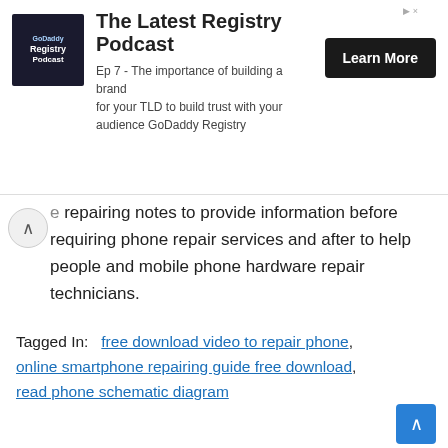[Figure (screenshot): GoDaddy Registry Podcast advertisement banner with logo, title 'The Latest Registry Podcast', description text, and 'Learn More' button]
e repairing notes to provide information before requiring phone repair services and after to help people and mobile phone hardware repair technicians.
Tagged In:   free download video to repair phone, online smartphone repairing guide free download, read phone schematic diagram
[Figure (other): Social sharing buttons: Facebook, Twitter, Pinterest, Mail, More]
Posted by Phone repairing Solutions
Muhammad Asif Azeemi demystifies everything about mobile repairing, presenting simple, step-by-step